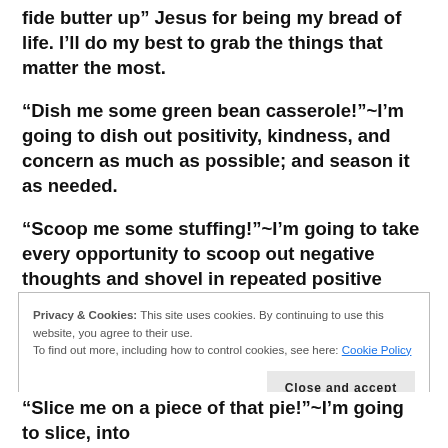fide butter up” Jesus for being my bread of life. I’ll do my best to grab the things that matter the most.
“Dish me some green bean casserole!”~I’m going to dish out positivity, kindness, and concern as much as possible; and season it as needed.
“Scoop me some stuffing!”~I’m going to take every opportunity to scoop out negative thoughts and shovel in repeated positive thoughts of love and truth.
Privacy & Cookies: This site uses cookies. By continuing to use this website, you agree to their use.
To find out more, including how to control cookies, see here: Cookie Policy
“Slice me on a piece of that pie!”~I’m going to slice, into